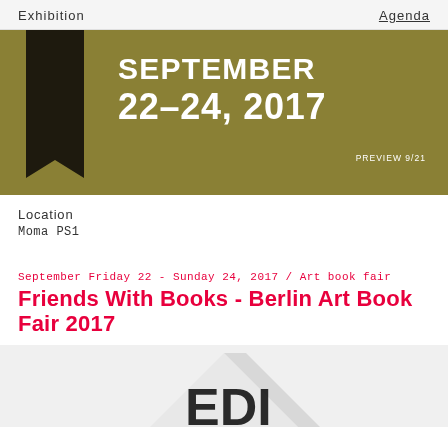Exhibition   Agenda
[Figure (illustration): Olive/gold colored banner image with a dark bookmark shape on the left and large white text reading 'SEPTEMBER 22–24, 2017' with 'PREVIEW 9/21' in small text at the right]
Location
Moma PS1
September Friday 22 - Sunday 24, 2017 / Art book fair
Friends With Books - Berlin Art Book Fair 2017
[Figure (photo): Partial image of a book or publication with dark letters visible at the bottom, partially cropped]